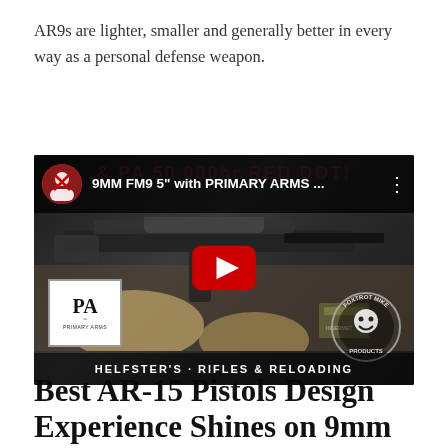AR9s are lighter, smaller and generally better in every way as a personal defense weapon.
[Figure (screenshot): YouTube video thumbnail showing '9MM FM9 5" with PRIMARY ARMS ...' with a play button, Primary Arms logo, and Foxtrot Mike Products watermark. Shows an AR pistol on a shooting bench.]
Best AR-15 Pistols Design Experience Shines on 9mm